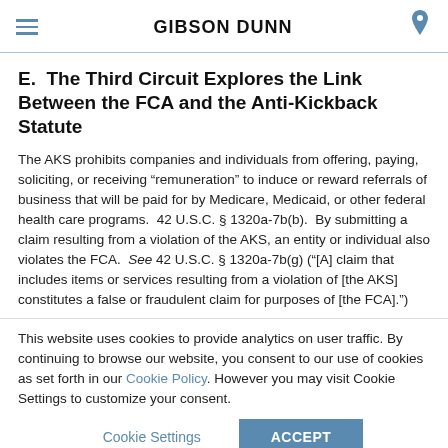GIBSON DUNN
E.  The Third Circuit Explores the Link Between the FCA and the Anti-Kickback Statute
The AKS prohibits companies and individuals from offering, paying, soliciting, or receiving “remuneration” to induce or reward referrals of business that will be paid for by Medicare, Medicaid, or other federal health care programs.  42 U.S.C. § 1320a-7b(b).  By submitting a claim resulting from a violation of the AKS, an entity or individual also violates the FCA.  See 42 U.S.C. § 1320a-7b(g) (“[A] claim that includes items or services resulting from a violation of [the AKS] constitutes a false or fraudulent claim for purposes of [the FCA].”)
This website uses cookies to provide analytics on user traffic. By continuing to browse our website, you consent to our use of cookies as set forth in our Cookie Policy. However you may visit Cookie Settings to customize your consent.